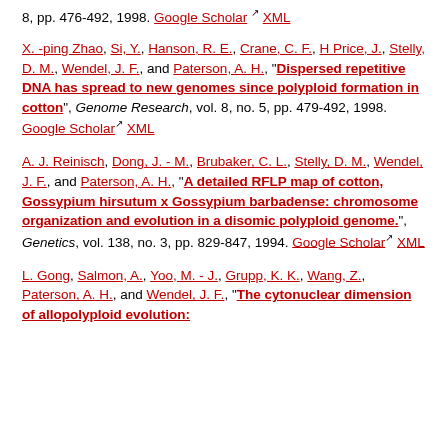8, pp. 476-492, 1998. Google Scholar XML (fragment at top)
X. -ping Zhao, Si, Y., Hanson, R. E., Crane, C. F., H Price, J., Stelly, D. M., Wendel, J. F., and Paterson, A. H., "Dispersed repetitive DNA has spread to new genomes since polyploid formation in cotton", Genome Research, vol. 8, no. 5, pp. 479-492, 1998. Google Scholar XML
A. J. Reinisch, Dong, J. - M., Brubaker, C. L., Stelly, D. M., Wendel, J. F., and Paterson, A. H., "A detailed RFLP map of cotton, Gossypium hirsutum x Gossypium barbadense: chromosome organization and evolution in a disomic polyploid genome.", Genetics, vol. 138, no. 3, pp. 829-847, 1994. Google Scholar XML
L. Gong, Salmon, A., Yoo, M. - J., Grupp, K. K., Wang, Z., Paterson, A. H., and Wendel, J. F., "The cytonuclear dimension of allopolyploid evolution: ...